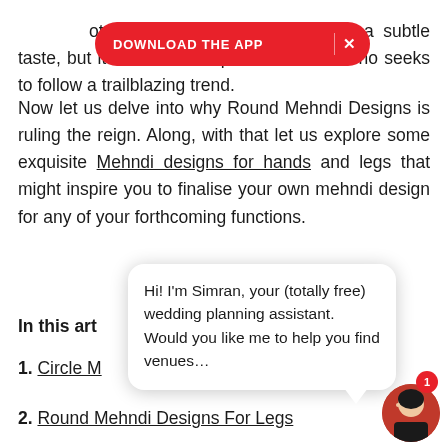Remarkably, it is not only a hit among brides with a subtle taste, but it is a favourite pick for a bride who seeks to follow a trailblazing trend.
Now let us delve into why Round Mehndi Designs is ruling the reign. Along, with that let us explore some exquisite Mehndi designs for hands and legs that might inspire you to finalise your own mehndi design for any of your forthcoming functions.
In this art
1. Circle M
2. Round Mehndi Designs For Legs
[Figure (screenshot): Red download the app banner overlay and chat bubble with Simran wedding planning assistant and avatar]